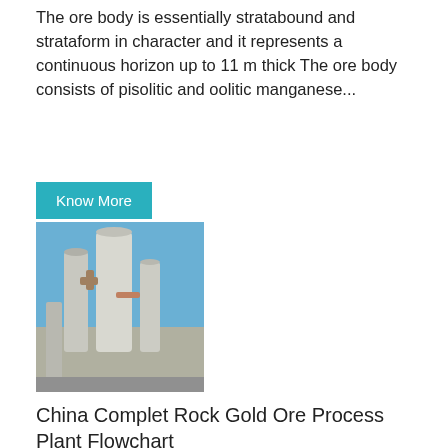The ore body is essentially stratabound and strataform in character and it represents a continuous horizon up to 11 m thick The ore body consists of pisolitic and oolitic manganese...
Know More
[Figure (photo): Industrial processing plant with large cylindrical tanks and pipes against a blue sky]
China Complet Rock Gold Ore Process Plant Flowchart
Rock Gold Process Plant Flowchart Rock Gold Process Flowchart Gold Gravity Separation Plant Flowchart manufacturer / supplier in China offering Complet Rock